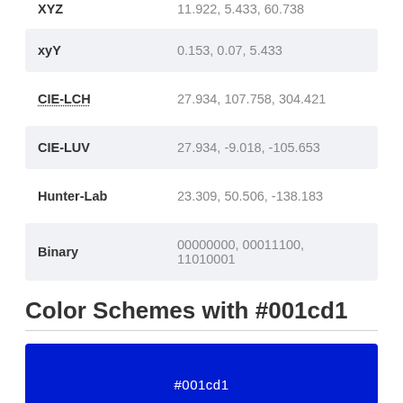| Property | Value |
| --- | --- |
| XYZ | 11.922, 5.433, 60.738 |
| xyY | 0.153, 0.07, 5.433 |
| CIE-LCH | 27.934, 107.758, 304.421 |
| CIE-LUV | 27.934, -9.018, -105.653 |
| Hunter-Lab | 23.309, 50.506, -138.183 |
| Binary | 00000000, 00011100, 11010001 |
Color Schemes with #001cd1
[Figure (infographic): Two color swatches: top swatch is #001cd1 (blue), bottom swatch is #d1b500 (golden yellow)]